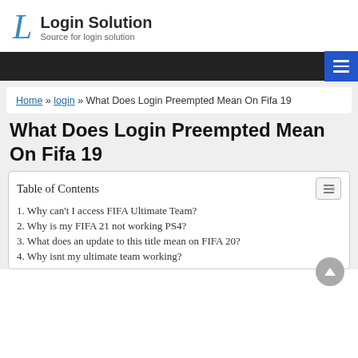Login Solution — Source for login solution
Home » login » What Does Login Preempted Mean On Fifa 19
What Does Login Preempted Mean On Fifa 19
Table of Contents
1. Why can't I access FIFA Ultimate Team?
2. Why is my FIFA 21 not working PS4?
3. What does an update to this title mean on FIFA 20?
4. Why isnt my ultimate team working?